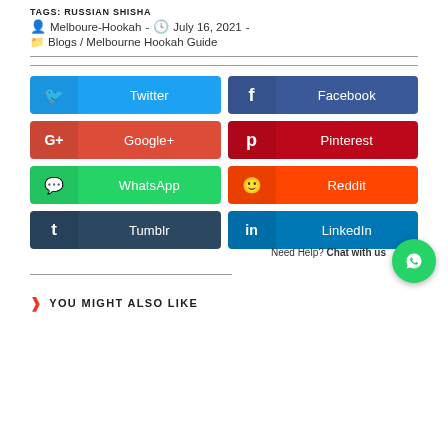TAGS: RUSSIAN SHISHA
Melboure-Hookah  -  July 16, 2021  -
Blogs / Melbourne Hookah Guide
[Figure (infographic): Social media sharing buttons: Twitter, Facebook, Google+, Pinterest, WhatsApp, Reddit, Tumblr, LinkedIn]
Need Help? Chat with us
YOU MIGHT ALSO LIKE